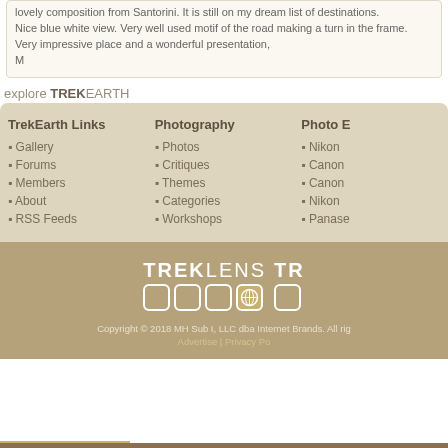lovely composition from Santorini. It is still on my dream list of destinations. Nice blue white view. Very well used motif of the road making a turn in the frame. Very impressive place and a wonderful presentation, M
explore TREKEARTH
TrekEarth Links
Gallery
Forums
Members
About
RSS Feeds
Photography
Photos
Critiques
Themes
Categories
Workshops
Photo E
Nikon
Canon
Canon
Nikon
Panase
[Figure (logo): TREKLENS logo with squares and globe icon]
Copyright © 2018 MH Sub I, LLC dba Internet Brands. All rights reserved. Advertise | Privacy Po